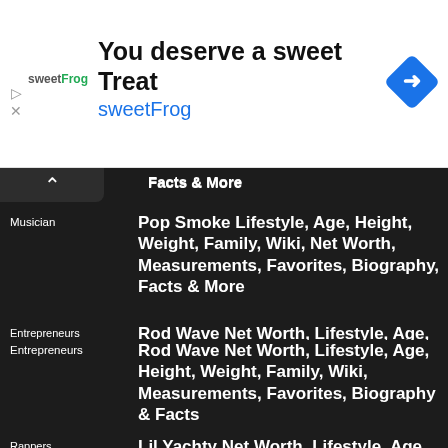[Figure (other): SweetFrog advertisement banner. Text: 'You deserve a sweet Treat' and 'sweetFrog' logo with a blue diamond arrow icon.]
Facts & More
Musician
Pop Smoke Lifestyle, Age, Height, Weight, Family, Wiki, Net Worth, Measurements, Favorites, Biography, Facts & More
Entrepreneurs
Rod Wave Net Worth, Lifestyle, Age, Height, Weight, Family, Wiki, Measurements, Favorites, Biography & Facts
Rappers
Lil Yachty Net Worth, Lifestyle, Age, Height, Weight, Family, Wiki, Measurements, Favorites, Biography & Facts